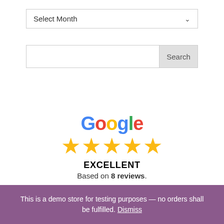Select Month
Search
[Figure (logo): Google logo with 5 gold stars rating widget showing EXCELLENT rating based on 8 reviews]
EXCELLENT
Based on 8 reviews.
This is a demo store for testing purposes — no orders shall be fulfilled. Dismiss